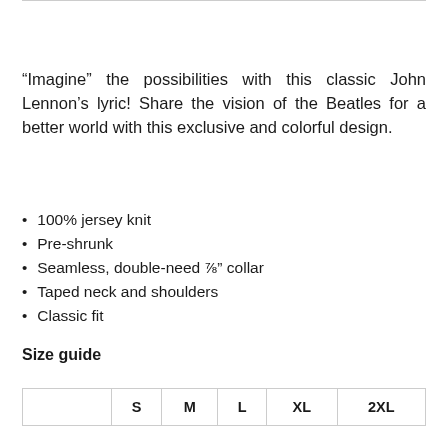“Imagine” the possibilities with this classic John Lennon’s lyric! Share the vision of the Beatles for a better world with this exclusive and colorful design.
100% jersey knit
Pre-shrunk
Seamless, double-need ⅞” collar
Taped neck and shoulders
Classic fit
Size guide
|  | S | M | L | XL | 2XL |
| --- | --- | --- | --- | --- | --- |